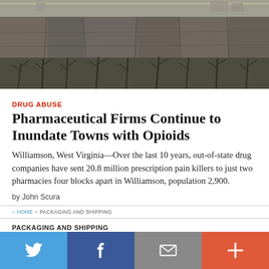[Figure (photo): Aerial or landscape photo of a rocky cliff face with bare trees, a retaining wall structure visible at the top, and a grey wintry sky. Appears to be an Appalachian scene.]
DRUG ABUSE
Pharmaceutical Firms Continue to Inundate Towns with Opioids
Williamson, West Virginia—Over the last 10 years, out-of-state drug companies have sent 20.8 million prescription pain killers to just two pharmacies four blocks apart in Williamson, population 2,900.
by John Scura
HOME » PACKAGING AND SHIPPING
PACKAGING AND SHIPPING